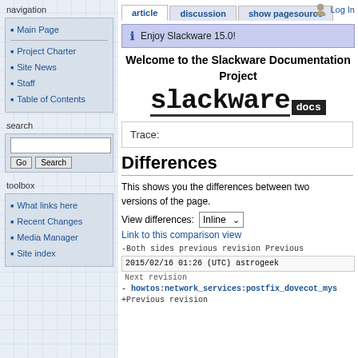Log In
article | discussion | show pagesource
Enjoy Slackware 15.0!
Welcome to the Slackware Documentation Project
[Figure (logo): Slackware docs logo in monospace font with underline and black 'docs' box]
Trace:
Differences
This shows you the differences between two versions of the page.
View differences: Inline
Link to this comparison view
-Both sides previous revision Previous
2015/02/16 01:26 (UTC) astrogeek
Next revision
- howtos:network_services:postfix_dovecot_mys
+Previous revision
navigation
Main Page
Project Charter
Site News
Staff
Table of Contents
search
toolbox
What links here
Recent Changes
Media Manager
Site index